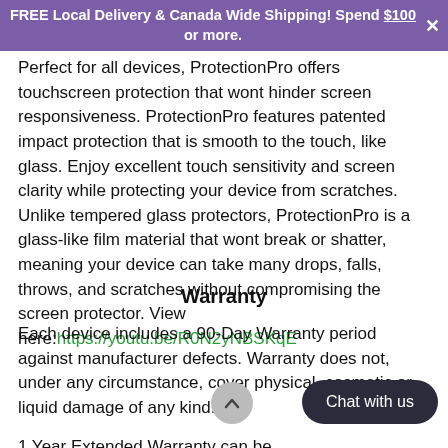FREE Local Delivery & Canada Wide Shipping! Spend $100 or more.
Perfect for all devices, ProtectionPro offers touchscreen protection that wont hinder screen responsiveness. ProtectionPro features patented impact protection that is smooth to the touch, like glass. Enjoy excellent touch sensitivity and screen clarity while protecting your device from scratches. Unlike tempered glass protectors, ProtectionPro is a glass-like film material that wont break or shatter, meaning your device can take many drops, falls, throws, and scratches without compromising the screen protector. View here: https://youtu.be/R0N2yNBSKqE
Warranty
Each device includes a 90-Day Warranty period against manufacturer defects. Warranty does not, under any circumstance, cover physical, cosmetic or liquid damage of any kind.
1 Year Extended Warranty can be purchased... warranty to a period of 1 year. Extended warranty covers manufacturer defects and does not cover physical or liquid damage.